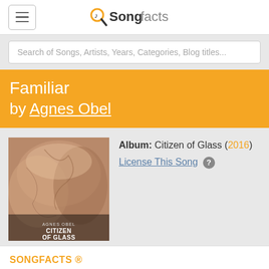Songfacts
Search of Songs, Artists, Years, Categories, Blog titles...
Familiar by Agnes Obel
[Figure (photo): Album cover for 'Citizen of Glass' by Agnes Obel. Brownish-pink abstract art with text 'AGNES OBEL CITIZEN OF GLASS' at bottom.]
Album: Citizen of Glass (2016)
License This Song
SONGFACTS ®